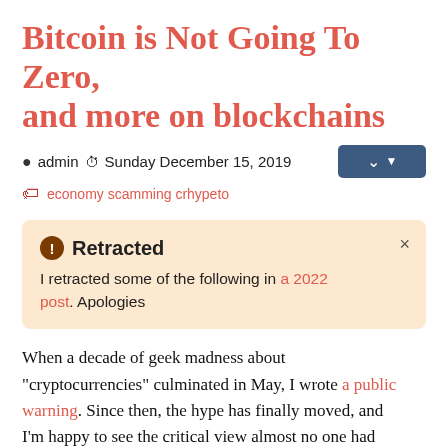Bitcoin is Not Going To Zero, and more on blockchains
admin  Sunday December 15, 2019  economy scamming crhypeto
Retracted
I retracted some of the following in a 2022 post. Apologies
When a decade of geek madness about "cryptocurrencies" culminated in May, I wrote a public warning. Since then, the hype has finally moved, and I'm happy to see the critical view almost no one had the courage to explain during Peak Crhypeto now